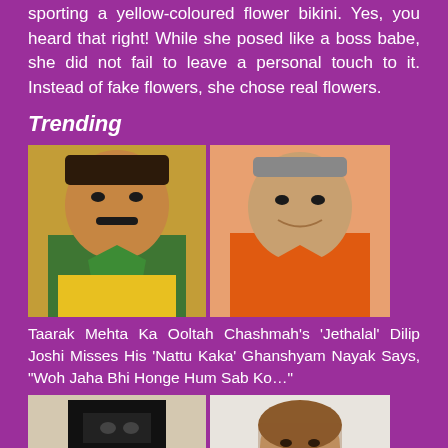sporting a yellow-coloured flower bikini. Yes, you heard that right! While she posed like a boss babe, she did not fail to leave a personal touch to it. Instead of fake flowers, she chose real flowers.
Trending
[Figure (photo): Two men side by side: a man in a green patterned shirt and a man in an orange shirt]
Taarak Mehta Ka Ooltah Chashmah's 'Jethalal' Dilip Joshi Misses His 'Nattu Kaka' Ghanshyam Nayak Says, "Woh Jaha Bhi Honge Hum Sab Ko…"
[Figure (photo): Two women side by side: a woman in a black burqa and a woman in a white dress]
Mandana Karimi Twerks In A Burqa, Faces Heat From Netizens As One Says "Being A Muslim You're Making Fun Of